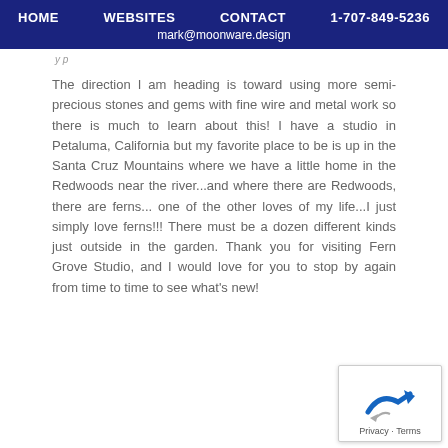HOME   WEBSITES   CONTACT   1-707-849-5236
mark@moonware.design
y p
The direction I am heading is toward using more semi-precious stones and gems with fine wire and metal work so there is much to learn about this! I have a studio in Petaluma, California but my favorite place to be is up in the Santa Cruz Mountains where we have a little home in the Redwoods near the river...and where there are Redwoods, there are ferns...one of the other loves of my life...I just simply love ferns!!! There must be a dozen different kinds just outside in the garden. Thank you for visiting Fern Grove Studio, and I would love for you to stop by again from time to time to see what's new!